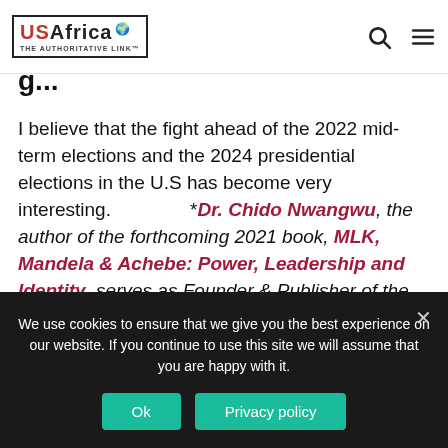USAfrica THE AUTHORITATIVE LINK
I believe that the fight ahead of the 2022 mid-term elections and the 2024 presidential elections in the U.S has become very interesting. *Dr. Chido Nwangwu, the author of the forthcoming 2021 book, MLK, Mandela & Achebe: Power, Leadership and Identity, serves as Founder & Publisher of the first African-owned, U.S-based newspaper on the internet, USAfricaonline.com.
We use cookies to ensure that we give you the best experience on our website. If you continue to use this site we will assume that you are happy with it.